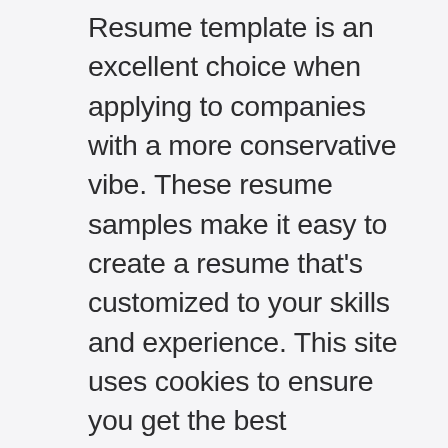Resume template is an excellent choice when applying to companies with a more conservative vibe. These resume samples make it easy to create a resume that's customized to your skills and experience. This site uses cookies to ensure you get the best experience on our website. Lang School of Business and Economics. Open Learning and Educational Support. Eavesdrop, Fiasco, and More Words with Surprising Origins. Including some trivia on 'trivia. The best thing about Enhancv resume builder is the availability of multiple templates for the free version. When you need a professional looking resume quickly, Enhancv will be the best choice for you. Professional, Technical Writing Introduction. Considering Stakeholder Handout. If there's a choice between including one more college internship or going into more detail about your current role, always choose the latter unless a